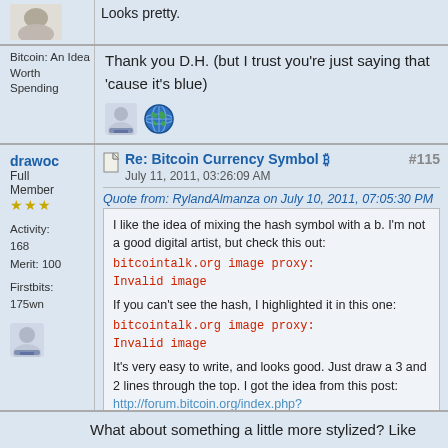Looks pretty.
Bitcoin: An Idea Worth Spending
Thank you D.H. (but I trust you're just saying that 'cause it's blue)
drawoc
Full Member
Activity: 168
Merit: 100
Firstbits: 175wn
Re: Bitcoin Currency Symbol ₿
July 11, 2011, 03:26:09 AM
#115
Quote from: RylandAlmanza on July 10, 2011, 07:05:30 PM
I like the idea of mixing the hash symbol with a b. I'm not a good digital artist, but check this out:
bitcointalk.org image proxy: Invalid image
If you can't see the hash, I highlighted it in this one:
bitcointalk.org image proxy: Invalid image
It's very easy to write, and looks good. Just draw a 3 and 2 lines through the top. I got the idea from this post:
http://forum.bitcoin.org/index.php?topic=25102.msg325489#msg325489
What about something a little more stylized? Like